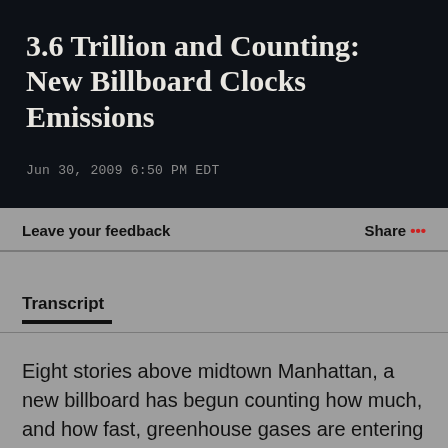3.6 Trillion and Counting: New Billboard Clocks Emissions
Jun 30, 2009 6:50 PM EDT
Leave your feedback
Share ...
Transcript
Eight stories above midtown Manhattan, a new billboard has begun counting how much, and how fast, greenhouse gases are entering the atmosphere. Climate Central reports.